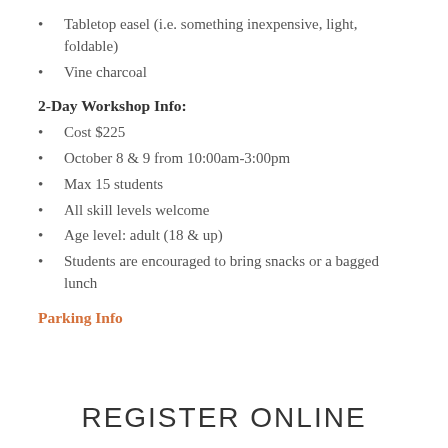Tabletop easel (i.e. something inexpensive, light, foldable)
Vine charcoal
2-Day Workshop Info:
Cost $225
October 8 & 9 from 10:00am-3:00pm
Max 15 students
All skill levels welcome
Age level: adult (18 & up)
Students are encouraged to bring snacks or a bagged lunch
Parking Info
REGISTER ONLINE